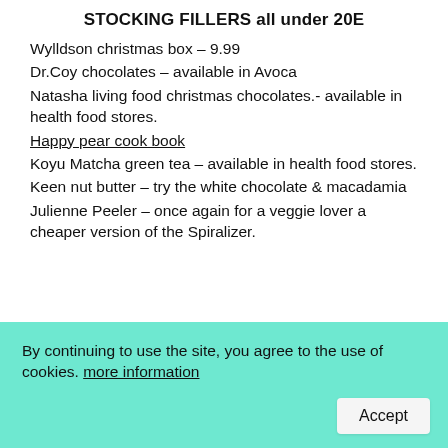STOCKING FILLERS all under 20E
Wylldson christmas box – 9.99
Dr.Coy chocolates – available in Avoca
Natasha living food christmas chocolates.- available in health food stores.
Happy pear cook book
Koyu Matcha green tea – available in health food stores.
Keen nut butter – try the white chocolate & macadamia
Julienne Peeler – once again for a veggie lover a cheaper version of the Spiralizer.
By continuing to use the site, you agree to the use of cookies. more information
Accept